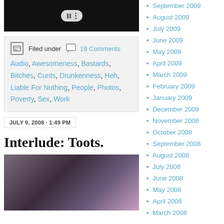[Figure (screenshot): Video player thumbnail with dark background and playback controls]
Filed under   19 Comments
Audio, Awesomeness, Bastards, Bitches, Cunts, Drunkenness, Heh, Liable For Nothing, People, Photos, Poverty, Sex, Work
JULY 9, 2008 · 1:49 PM
Interlude: Toots.
[Figure (photo): Blurry close-up photo with purple/pink tones, appears to show a person's face or hand]
September 2009
August 2009
July 2009
June 2009
May 2009
April 2009
March 2009
February 2009
January 2009
December 2008
November 2008
October 2008
September 2008
August 2008
July 2008
June 2008
May 2008
April 2008
March 2008